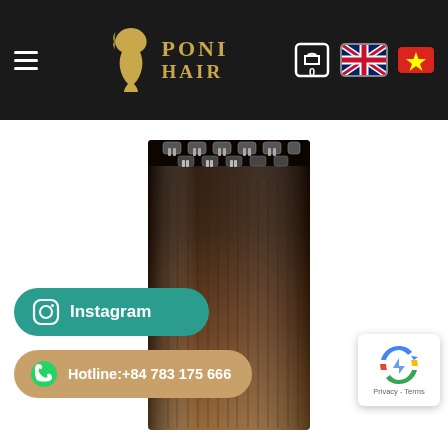Poni Hair — Navigation header with logo, cart (0 items), UK flag, Vietnam flag
[Figure (photo): Dark brown to light brown ombre clip-in hair extensions, straight, with multiple metal clips at the top, displayed vertically against a white background]
[Figure (logo): Instagram button (teal rounded rectangle) with Instagram icon and text 'Instagram']
[Figure (infographic): Hotline button (tan/gold rounded rectangle) with WhatsApp icon and text 'Hotline:+84 783 175 666']
[Figure (logo): reCAPTCHA badge with Google reCAPTCHA icon and 'Privacy - Terms' text]